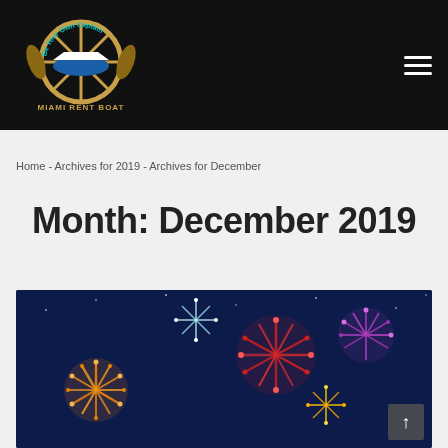Miami Rent Boat — Be Your Own Captain
Home - Archives for 2019 - Archives for December
Month: December 2019
[Figure (photo): Fireworks display against a dark night sky with blue tones, colorful bursts of orange, red, purple, and white fireworks]